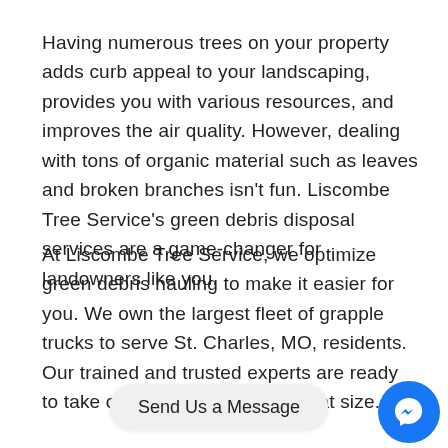Having numerous trees on your property adds curb appeal to your landscaping, provides you with various resources, and improves the air quality. However, dealing with tons of organic material such as leaves and broken branches isn't fun. Liscombe Tree Service's green debris disposal services are a game-changer for landowners like you.
At Liscombe Tree Service, we optimize green debris hauling to make it easier for you. We own the largest fleet of grapple trucks to serve St. Charles, MO, residents. Our trained and trusted experts are ready to take on any job, no matter what size.
[Figure (other): A Facebook Messenger chat button with 'Send Us a Message' pill label and blue circular messenger icon]